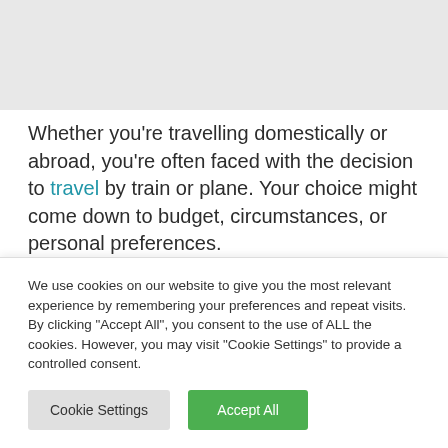[Figure (screenshot): Gray rectangle at top of page representing a website header or image area]
Whether you're travelling domestically or abroad, you're often faced with the decision to travel by train or plane. Your choice might come down to budget, circumstances, or personal preferences.
In this article, we take a look at the pros and cons of
We use cookies on our website to give you the most relevant experience by remembering your preferences and repeat visits. By clicking "Accept All", you consent to the use of ALL the cookies. However, you may visit "Cookie Settings" to provide a controlled consent.